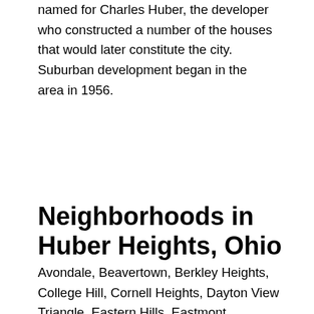Huber Heights on January 28, 1981. The city is named for Charles Huber, the developer who constructed a number of the houses that would later constitute the city. Suburban development began in the area in 1956.
Neighborhoods in Huber Heights, Ohio
Avondale, Beavertown, Berkley Heights, College Hill, Cornell Heights, Dayton View Triangle, Eastern Hills, Eastmont, Edgemont, Edgemont, Fairview, Fairview, Five Oaks, Five Points, Forest Ridge Quail Hollow